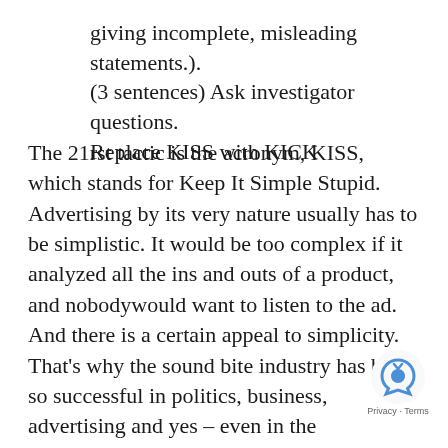giving incomplete, misleading statements.). (3 sentences) Ask investigator questions. Replace KISS with KICK
The 21rst tactic is the acronym, KISS, which stands for Keep It Simple Stupid. Advertising by its very nature usually has to be simplistic. It would be too complex if it analyzed all the ins and outs of a product, and nobodywould want to listen to the ad. And there is a certain appeal to simplicity. That's why the sound bite industry has been so successful in politics, business, advertising and yes – even in the evangelical church. We like to knowwhat the bottom li… But it's important to know if their bottom l… the true bottom line; or even to know if your